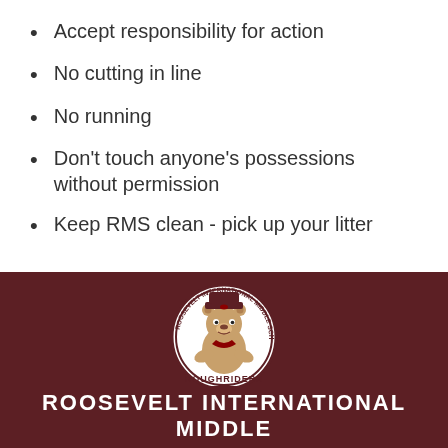Accept responsibility for action
No cutting in line
No running
Don't touch anyone's possessions without permission
Keep RMS clean - pick up your litter
[Figure (logo): Roosevelt International Middle School Roughriders mascot logo — a cartoon bear in cowboy hat with arms crossed inside a circular badge with text 'ROOSEVELT INTERNATIONAL MIDDLE SCHOOL' and 'ROUGHRIDERS']
ROOSEVELT INTERNATIONAL MIDDLE